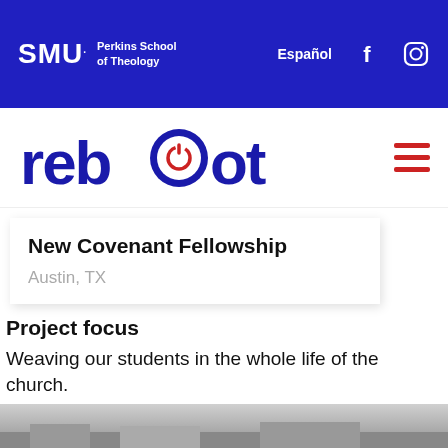SMU Perkins School of Theology — Español — Facebook — Instagram navigation
[Figure (logo): Reboot logo with hamburger menu]
New Covenant Fellowship
Austin, TX
Project focus
Weaving our students in the whole life of the church.
[Figure (photo): Partial bottom photo strip showing outdoor scene]